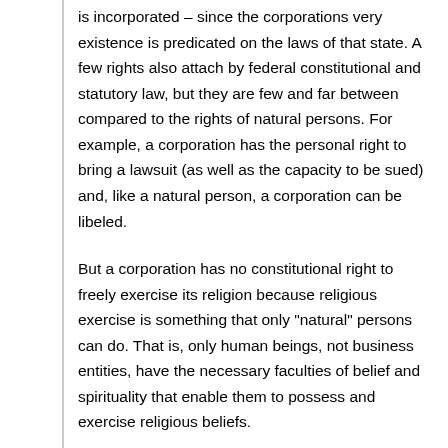is incorporated – since the corporations very existence is predicated on the laws of that state. A few rights also attach by federal constitutional and statutory law, but they are few and far between compared to the rights of natural persons. For example, a corporation has the personal right to bring a lawsuit (as well as the capacity to be sued) and, like a natural person, a corporation can be libeled.
But a corporation has no constitutional right to freely exercise its religion because religious exercise is something that only "natural" persons can do. That is, only human beings, not business entities, have the necessary faculties of belief and spirituality that enable them to possess and exercise religious beliefs.